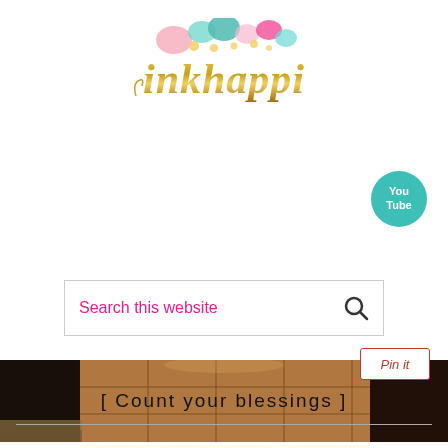[Figure (logo): inkhappi logo with colorful watercolor circles/dots above gold glitter script text reading 'inkhappi']
[Figure (logo): YouTube button icon — teal circle with 'You Tube' text in white]
Search this website
[Figure (photo): Kitchen floor with terracotta tiles, dark appliances/cabinets on left and right edges]
[Figure (logo): Pinterest 'Pin it' button with red border]
[ Count your blessings ]